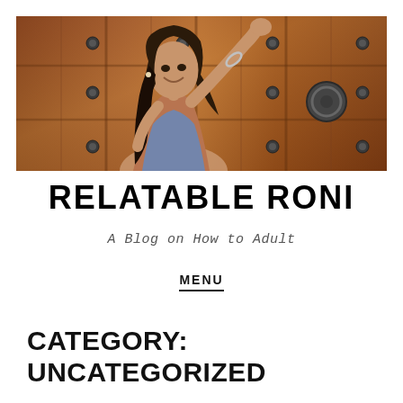[Figure (photo): A young woman with long dark hair, smiling and reaching up toward large ornate wooden doors with metal studs and hardware. She is wearing a sleeveless top and a bracelet. The background is warm brown wooden door panels.]
RELATABLE RONI
A Blog on How to Adult
MENU
CATEGORY:
UNCATEGORIZED